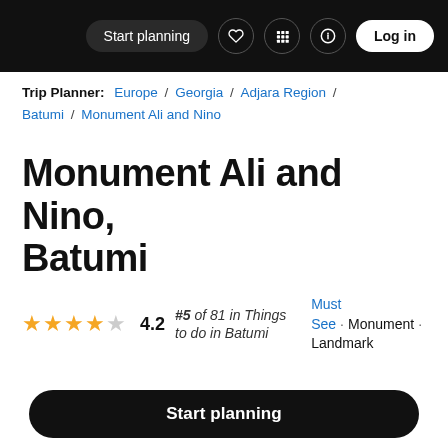Start planning  Log in
Trip Planner: Europe / Georgia / Adjara Region / Batumi / Monument Ali and Nino
Monument Ali and Nino, Batumi
4.2  #5 of 81 in Things to do in Batumi  Must See · Monument · Landmark
Monument Ali and Nino is located in Batumi. Add Monumen...